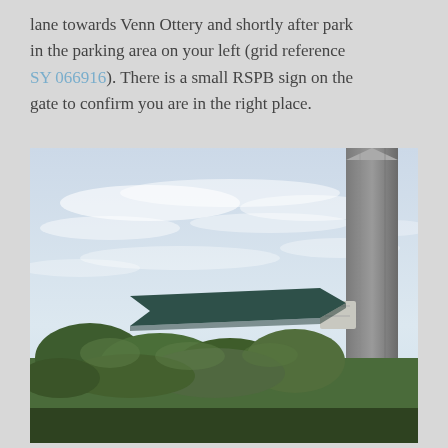lane towards Venn Ottery and shortly after park in the parking area on your left (grid reference SY 066916). There is a small RSPB sign on the gate to confirm you are in the right place.
[Figure (photo): A directional signpost with a dark green arrow-shaped sign pointing left, mounted on a concrete post. The background shows a partly cloudy sky with green trees and shrubs below.]